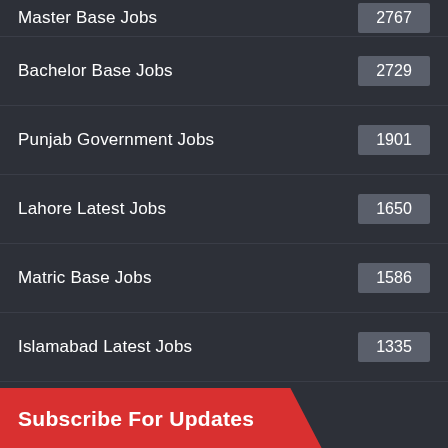Master Base Jobs 2767
Bachelor Base Jobs 2729
Punjab Government Jobs 1901
Lahore Latest Jobs 1650
Matric Base Jobs 1586
Islamabad Latest Jobs 1335
Subscribe For Updates
[Figure (infographic): Red subscription banner with a bell/notification icon in a rounded rectangle speech bubble shape]